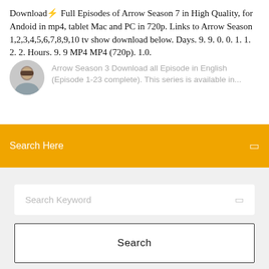Download⚡ Full Episodes of Arrow Season 7 in High Quality, for Andoid in mp4, tablet Mac and PC in 720p. Links to Arrow Season 1,2,3,4,5,6,7,8,9,10 tv show download below. Days. 9. 9. 0. 0. 1. 1. 2. 2. Hours. 9. 9 MP4 MP4 (720p). 1.0.
[Figure (photo): Small circular avatar photo of a man]
Arrow Season 3 Download all Episode in English (Episode 1-23 complete). This series is available in...
Search Here
Search Keyword
Search